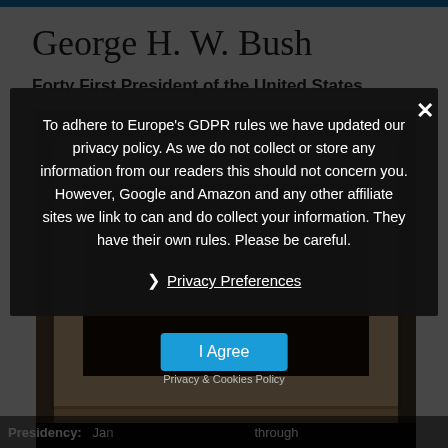George H. W. Bush
Forty First President of the United States
[Figure (photo): Framed photograph or portrait, dark background with warm-toned mat/frame border]
To adhere to Europe's GDPR rules we have updated our privacy policy. As we do not collect or store any information from our readers this should not concern you. However, Google and Amazon and any other affiliate sites we link to can and do collect your information. They have their own rules. Please be careful.
❯ Privacy Preferences
I Agree
Privacy & Cookies Policy
Presidency:  Ja... through